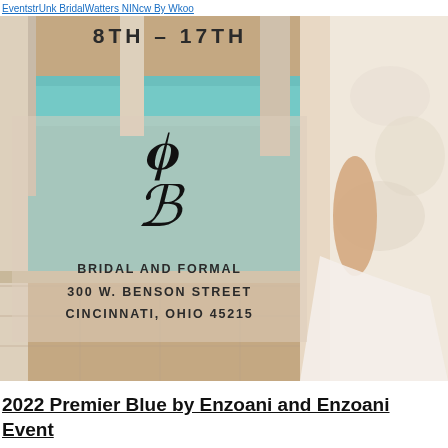EventstrUnk BridalWatters NINcw By Wkoo
[Figure (photo): Bridal shop advertisement photo showing a bride in a lace wedding gown beside a pool with stone columns. Left side shows overlay with date '8TH - 17TH', a cursive B logo, and address text: BRIDAL AND FORMAL, 300 W. BENSON STREET, CINCINNATI, OHIO 45215]
2022 Premier Blue by Enzoani and Enzoani Event